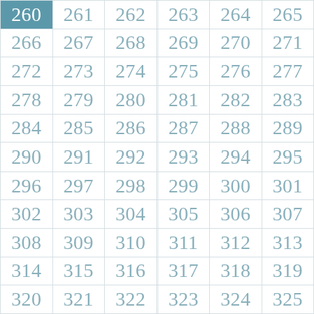| 260 | 261 | 262 | 263 | 264 | 265 |
| 266 | 267 | 268 | 269 | 270 | 271 |
| 272 | 273 | 274 | 275 | 276 | 277 |
| 278 | 279 | 280 | 281 | 282 | 283 |
| 284 | 285 | 286 | 287 | 288 | 289 |
| 290 | 291 | 292 | 293 | 294 | 295 |
| 296 | 297 | 298 | 299 | 300 | 301 |
| 302 | 303 | 304 | 305 | 306 | 307 |
| 308 | 309 | 310 | 311 | 312 | 313 |
| 314 | 315 | 316 | 317 | 318 | 319 |
| 320 | 321 | 322 | 323 | 324 | 325 |